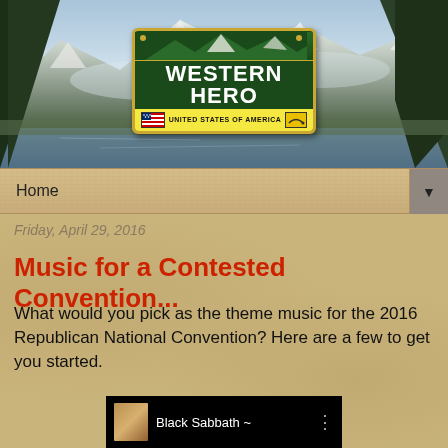[Figure (photo): Website banner with mountain/lake landscape photo and Western Hero license plate logo in center. Left and right pine trees frame the scene with snow-capped mountains in background.]
Home ▼
Friday, April 29, 2016
Music for a Contested Convention...
What would you pick as the theme music for the 2016 Republican National Convention?  Here are a few to get you started.
[Figure (screenshot): Video thumbnail showing Black Sabbath ~ label with a person's photo on dark background]